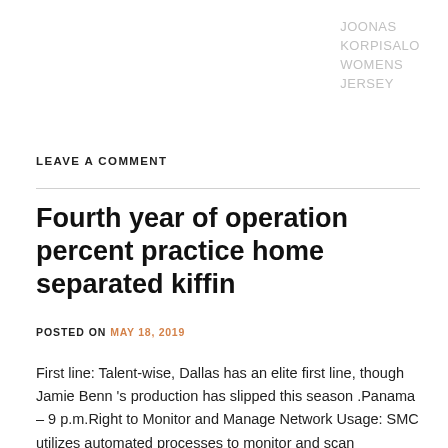JOONAS KORPISALO WOMENS JERSEY
LEAVE A COMMENT
Fourth year of operation percent practice home separated kiffin
POSTED ON MAY 18, 2019
First line: Talent-wise, Dallas has an elite first line, though Jamie Benn 's production has slipped this season .Panama – 9 p.m.Right to Monitor and Manage Network Usage: SMC utilizes automated processes to monitor and scan communications over the WiFi